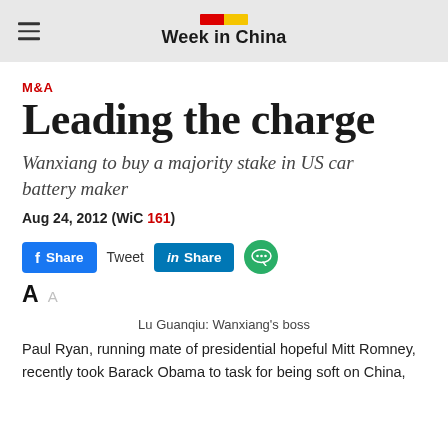Week in China
M&A
Leading the charge
Wanxiang to buy a majority stake in US car battery maker
Aug 24, 2012 (WiC 161)
Facebook Share | Tweet | LinkedIn Share | WeChat
A  A
Lu Guanqiu: Wanxiang's boss
Paul Ryan, running mate of presidential hopeful Mitt Romney, recently took Barack Obama to task for being soft on China,